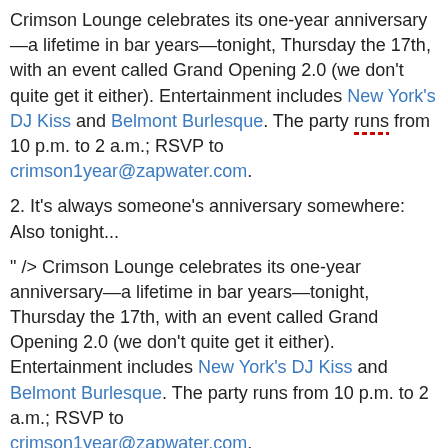Crimson Lounge celebrates its one-year anniversary—a lifetime in bar years—tonight, Thursday the 17th, with an event called Grand Opening 2.0 (we don't quite get it either). Entertainment includes New York's DJ Kiss and Belmont Burlesque. The party runs from 10 p.m. to 2 a.m.; RSVP to crimson1year@zapwater.com.
2. It's always someone's anniversary somewhere: Also tonight...
" /> Crimson Lounge celebrates its one-year anniversary—a lifetime in bar years—tonight, Thursday the 17th, with an event called Grand Opening 2.0 (we don't quite get it either). Entertainment includes New York's DJ Kiss and Belmont Burlesque. The party runs from 10 p.m. to 2 a.m.; RSVP to crimson1year@zapwater.com.
2. It's always someone's anniversary somewhere: Also tonight...
" /> Crimson Lounge celebrates its one-year anniversary—a